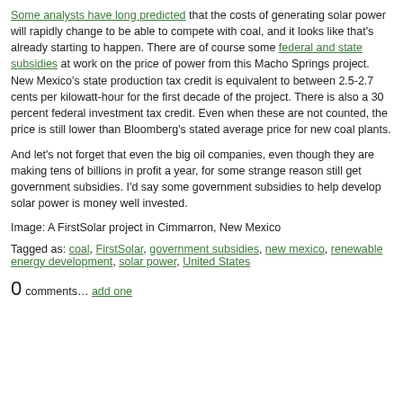Some analysts have long predicted that the costs of generating solar power will rapidly change to be able to compete with coal, and it looks like that's already starting to happen. There are of course some federal and state subsidies at work on the price of power from this Macho Springs project. New Mexico's state production tax credit is equivalent to between 2.5-2.7 cents per kilowatt-hour for the first decade of the project. There is also a 30 percent federal investment tax credit. Even when these are not counted, the price is still lower than Bloomberg's stated average price for new coal plants.
And let's not forget that even the big oil companies, even though they are making tens of billions in profit a year, for some strange reason still get government subsidies. I'd say some government subsidies to help develop solar power is money well invested.
Image: A FirstSolar project in Cimmarron, New Mexico
Tagged as: coal, FirstSolar, government subsidies, new mexico, renewable energy development, solar power, United States
0 comments… add one